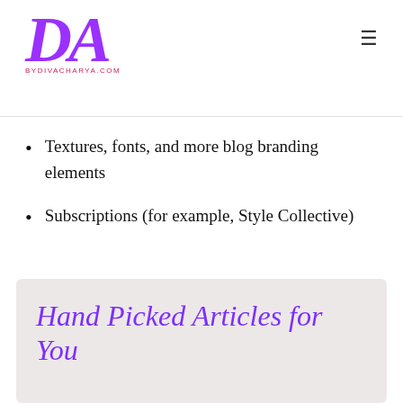BYDIVACHARYA.COM
Textures, fonts, and more blog branding elements
Subscriptions (for example, Style Collective)
Hand Picked Articles for You